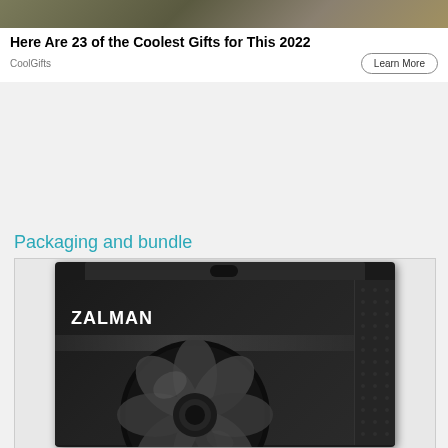[Figure (photo): Partial view of a photo showing an outdoor scene, cropped at top of page (advertisement image)]
Here Are 23 of the Coolest Gifts for This 2022
CoolGifts
Learn More
Packaging and bundle
[Figure (photo): Zalman product box (black) showing a fan cooler on the front, with side panel and top hanger tab visible. The box displays the ZALMAN brand name in white text.]